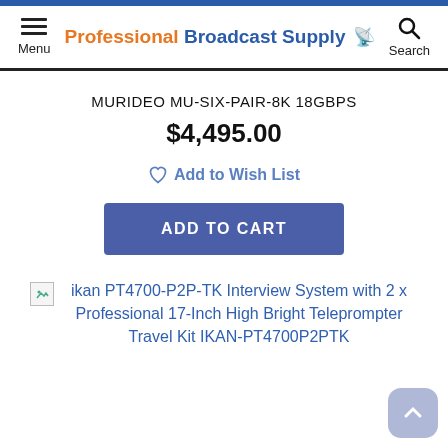Professional Broadcast Supply — Menu | Search
MURIDEO MU-SIX-PAIR-8K 18GBPS
$4,495.00
Add to Wish List
ADD TO CART
ikan PT4700-P2P-TK Interview System with 2 x Professional 17-Inch High Bright Teleprompter Travel Kit IKAN-PT4700P2PTK